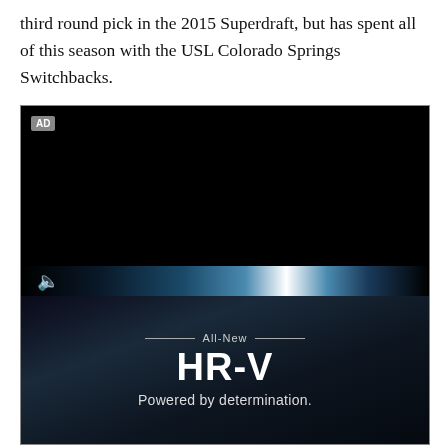third round pick in the 2015 Superdraft, but has spent all of this season with the USL Colorado Springs Switchbacks.
[Figure (other): Video advertisement player with black background, AD label in top-left, speaker/mute icon at bottom-left, blue light streak across lower portion, and Honda HR-V advertisement panel below showing 'All-New HR-V Powered by determination.' text on dark background with motion blur effect.]